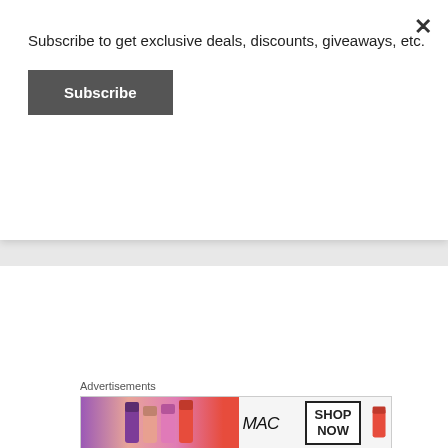Subscribe to get exclusive deals, discounts, giveaways, etc.
Subscribe
[Figure (photo): Sidewalk chalk art reading 'Sidewalk Paint' with colorful swirls and a heart]
[Figure (photo): Person leaning over or working on something on a floor, casual clothing]
Did your mom teach you to share? Tell your friends.
Advertisements
[Figure (photo): MAC Cosmetics advertisement showing lipsticks and 'SHOP NOW' text]